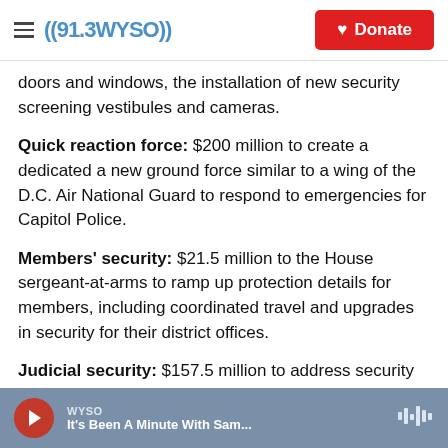((91.3WYSO)) | Donate
doors and windows, the installation of new security screening vestibules and cameras.
Quick reaction force: $200 million to create a dedicated a new ground force similar to a wing of the D.C. Air National Guard to respond to emergencies for Capitol Police.
Members' security: $21.5 million to the House sergeant-at-arms to ramp up protection details for members, including coordinated travel and upgrades in security for their district offices.
Judicial security: $157.5 million to address security
WYSO | It's Been A Minute With Sam...